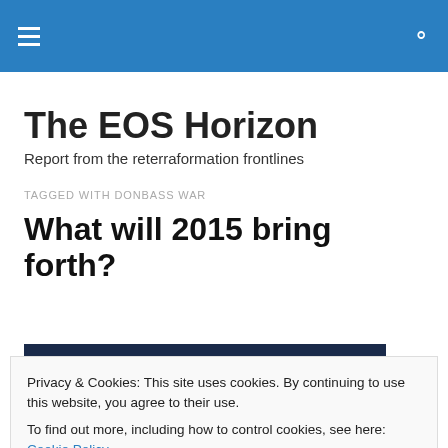The EOS Horizon — navigation bar with hamburger menu and search icon
The EOS Horizon
Report from the reterraformation frontlines
TAGGED WITH DONBASS WAR
What will 2015 bring forth?
Privacy & Cookies: This site uses cookies. By continuing to use this website, you agree to their use.
To find out more, including how to control cookies, see here: Cookie Policy
Close and accept